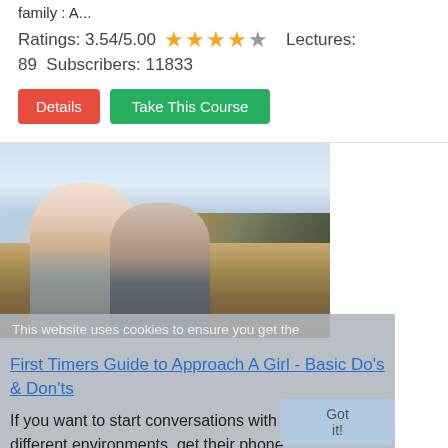family : A...
Ratings: 3.54/5.00 ★★★★☆ Lectures: 89  Subscribers: 11833
Details | Take This Course
[Figure (photo): A young couple sitting outdoors in a field, smiling and enjoying each other's company.]
This website uses cookies to ensure you get the best experience on our website.
First Timers Guide to Approach A Girl - Basic Do's & Don'ts
If you want to start conversations with girls in different environments, get their phone